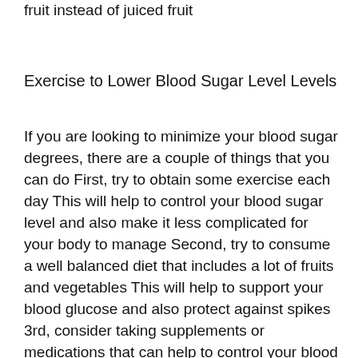fruit instead of juiced fruit
Exercise to Lower Blood Sugar Level Levels
If you are looking to minimize your blood sugar degrees, there are a couple of things that you can do First, try to obtain some exercise each day This will help to control your blood sugar level and also make it less complicated for your body to manage Second, try to consume a well balanced diet that includes a lot of fruits and vegetables This will help to support your blood glucose and also protect against spikes 3rd, consider taking supplements or medications that can help to control your blood sugar level